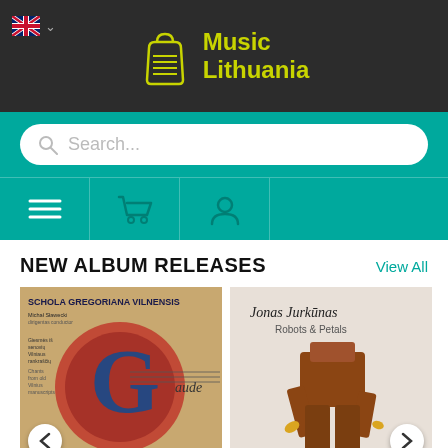Music Lithuania
Search...
NEW ALBUM RELEASES
View All
[Figure (photo): Album cover: Schola Gregoriana Vilnensis - gaude maria virgo, medieval illuminated manuscript style with large decorative G letter]
[Figure (photo): Album cover: Jonas Jurkūnas - Robots & Petals, featuring a sculptural wooden robot-like figure against light background]